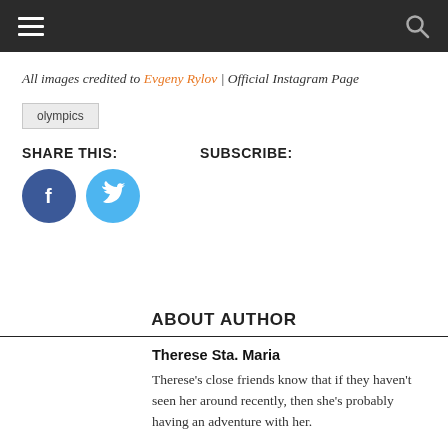navigation bar with hamburger menu and search icon
All images credited to Evgeny Rylov | Official Instagram Page
olympics
SHARE THIS:
SUBSCRIBE:
ABOUT AUTHOR
Therese Sta. Maria
Therese's close friends know that if they haven't seen her around recently, then she's probably having an adventure with her.